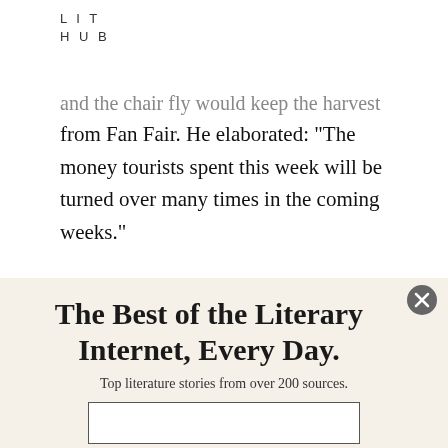LIT
HUB
…and the chair fly would keep the harvest from Fan Fair. He elaborated: “The money tourists spent this week will be turned over many times in the coming weeks.”

Fan Fair had begun as the offshoot of the International Fan Club Organization (IFCO),
The Best of the Literary Internet, Every Day.
Top literature stories from over 200 sources.
SUBSCRIBE